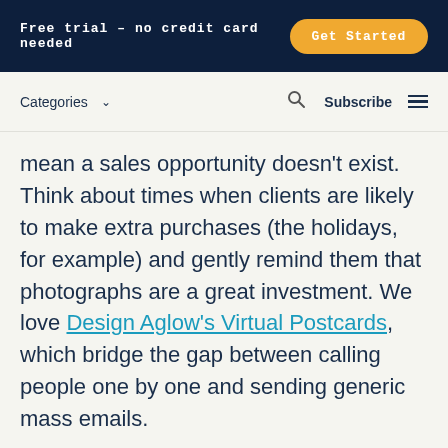Free trial – no credit card needed   Get Started
Categories  ∨   🔍   Subscribe  ≡
mean a sales opportunity doesn't exist. Think about times when clients are likely to make extra purchases (the holidays, for example) and gently remind them that photographs are a great investment. We love Design Aglow's Virtual Postcards, which bridge the gap between calling people one by one and sending generic mass emails.